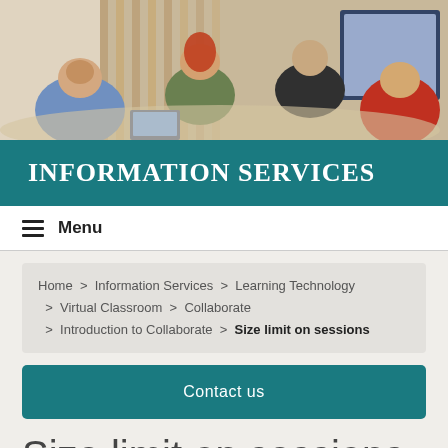[Figure (photo): Students sitting around a table having a discussion in a modern space with wooden slat walls and a screen in the background]
INFORMATION SERVICES
Menu
Home > Information Services > Learning Technology > Virtual Classroom > Collaborate > Introduction to Collaborate > Size limit on sessions
Contact us
Size limit on sessions